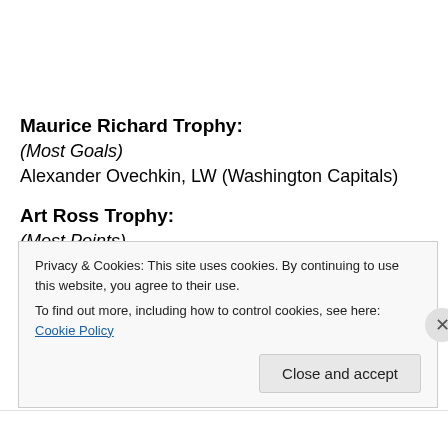Maurice Richard Trophy:
(Most Goals)
Alexander Ovechkin, LW (Washington Capitals)
Art Ross Trophy:
(Most Points)
Martin St. Louis, RW (Tampa Bay Lightning)
Privacy & Cookies: This site uses cookies. By continuing to use this website, you agree to their use.
To find out more, including how to control cookies, see here: Cookie Policy
Close and accept